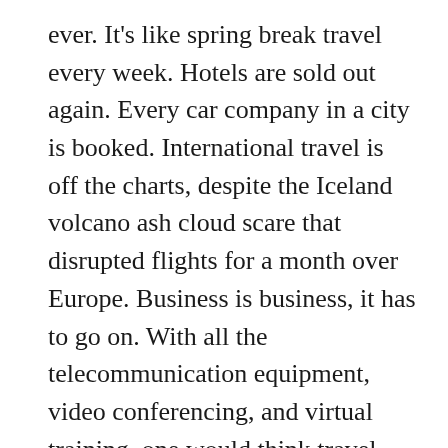ever. It's like spring break travel every week. Hotels are sold out again. Every car company in a city is booked. International travel is off the charts, despite the Iceland volcano ash cloud scare that disrupted flights for a month over Europe. Business is business, it has to go on. With all the telecommunication equipment, video conferencing, and virtual training, one would think travel would not be as demanding. It doesn't have to be done “in-person” anymore.
Not true either, most customers, clients, and businesses understand, there is nothing like face-to-face. Many training and physical labor has to be done by hand. Sensitive information has to be transported in person. Conferences and people networking with handshakes and so f…